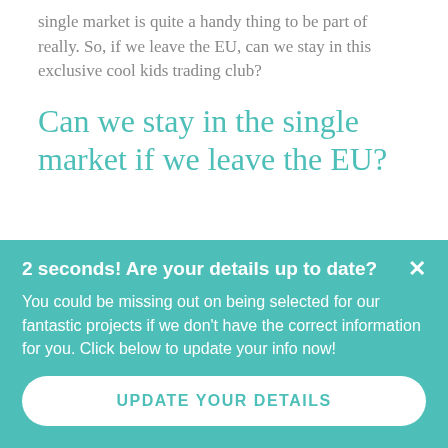single market is quite a handy thing to be part of really. So, if we leave the EU, can we stay in this exclusive cool kids trading club?
Can we stay in the single market if we leave the EU?
2 seconds! Are your details up to date?
You could be missing out on being selected for our fantastic projects if we don't have the correct information for you. Click below to update your info now!
UPDATE YOUR DETAILS